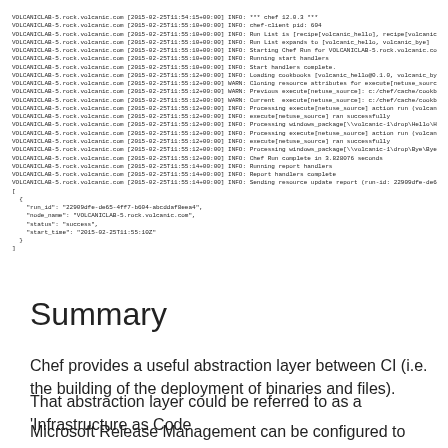[Figure (screenshot): Terminal/log output showing Chef client run on VOLCANICLAB-5.rock.volcanic.com with timestamps around 2015-02-25T11:54-11:55, followed by a JSON snippet with run_id, node_name, status: success, and start_time fields.]
Summary
Chef provides a useful abstraction layer between CI (i.e. the building of the deployment of binaries and files).
That abstraction layer could be referred to as a 'Infrastructure as Code
Microsoft Release Management can be configured to update attribute